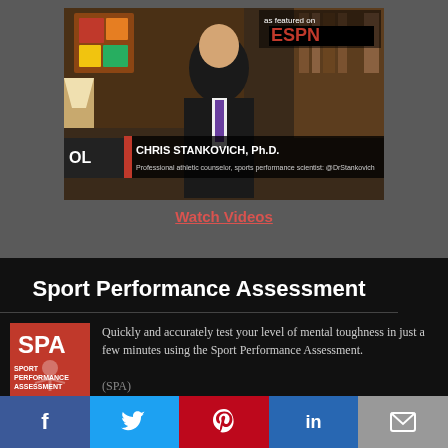[Figure (screenshot): Video thumbnail of Chris Stankovich Ph.D. featured on ESPN. Man in suit with 'as featured on ESPN' text overlay and lower-third graphic reading 'CHRIS STANKOVICH, Ph.D. Professional athletic counselor, sports performance scientist, @DrStankovich']
Watch Videos
Sport Performance Assessment
[Figure (photo): SPA (Sport Performance Assessment) book cover - red cover with SPA logo]
Quickly and accurately test your level of mental toughness in just a few minutes using the Sport Performance Assessment.
(SPA)
f  Twitter  Pinterest  in  Email social share buttons